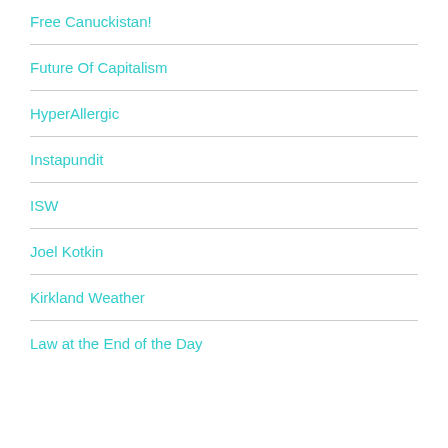Free Canuckistan!
Future Of Capitalism
HyperAllergic
Instapundit
ISW
Joel Kotkin
Kirkland Weather
Law at the End of the Day